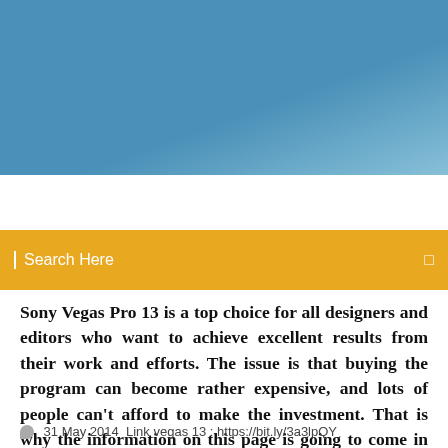[Figure (photo): Blue sky gradient header banner]
Search Here
Sony Vegas Pro 13 is a top choice for all designers and editors who want to achieve excellent results from their work and efforts. The issue is that buying the program can become rather expensive, and lots of people can't afford to make the investment. That is why the information on this page is going to come in useful for you. Use the serial number and key below to gain access to the
31 May 2014 Link vegas 13 : https://bit.ly/3a3lpQY